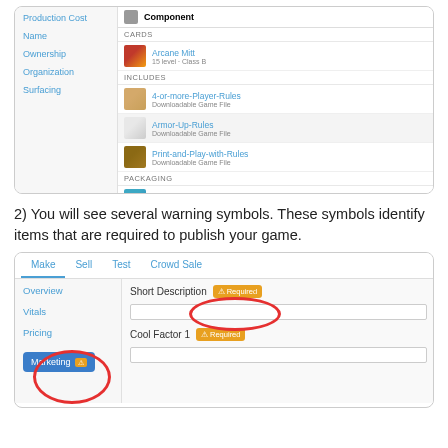[Figure (screenshot): Screenshot of a game component list showing Production Cost, Name, Ownership, Organization, Surfacing navigation on left, and a component list on right with Cards section (Arcane Mitt), Includes section (4-or-more-Player-Rules, Armor-Up-Rules, Print-and-Play-with-Rules), and Packaging section (18-card-tuck-box Front)]
2) You will see several warning symbols. These symbols identify items that are required to publish your game.
[Figure (screenshot): Screenshot of a game publishing interface with Make, Sell, Test, Crowd Sale tabs. Left nav shows Overview, Vitals, Pricing, Marketing. Right side shows Short Description field with orange Required badge (circled in red), and Cool Factor 1 field with orange Required badge. Marketing button has a warning indicator circled in red.]